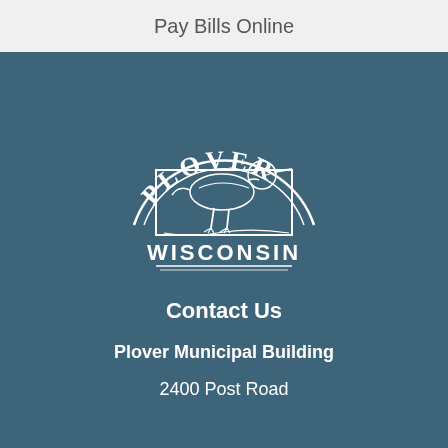Pay Bills Online
[Figure (logo): Plover Wisconsin municipal logo featuring a plover bird inside an arched frame with the text PLOVER curved above and WISCONSIN below with decorative lines]
Contact Us
Plover Municipal Building
2400 Post Road